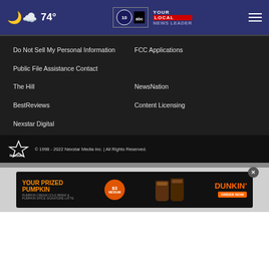74° NEWS 10 ABC YOUR LOCAL NEWS LEADER
Do Not Sell My Personal Information
FCC Applications
Public File Assistance Contact
The Hill
NewsNation
BestReviews
Content Licensing
Nexstar Digital
© 1998 - 2022 Nexstar Media Inc. | All Rights Reserved.
[Figure (photo): Dunkin advertisement banner: YOUR PRIZED PUMPKIN $3 MEDIUM with pumpkin coffee drinks and DUNKIN' ORDER NOW]